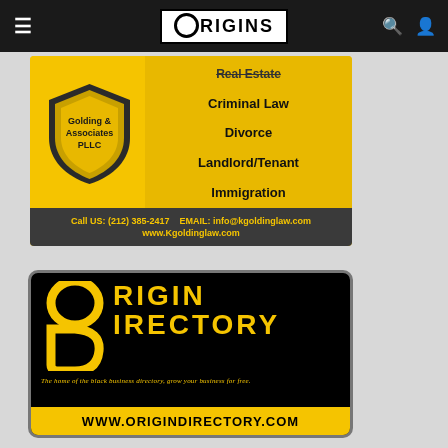[Figure (screenshot): Origins website navigation bar with hamburger menu, Origins logo, search and user icons on black background]
[Figure (illustration): Golding & Associates PLLC law firm advertisement on yellow background with shield logo, listing practice areas: Real Estate, Criminal Law, Divorce, Landlord/Tenant, Immigration. Contact: Call US: (212) 385-2417, EMAIL: info@kgoldinglaw.com, www.Kgoldinglaw.com]
[Figure (logo): Origin Directory advertisement on black background with yellow stylized person icon made of O and D shapes, text ORIGIN DIRECTORY in yellow, tagline: THE HOME OF THE BLACK BUSINESS DIRECTORY, GROW YOUR BUSINESS FOR FREE., URL: WWW.ORIGINDIRECTORY.COM]